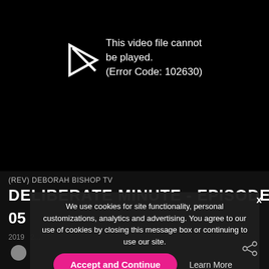[Figure (screenshot): Video player showing error: This video file cannot be played. (Error Code: 102630)]
This video file cannot be played. (Error Code: 102630)
(REV) DEBORAH BISHOP TV
DELIBERATE MINUTE - EPISODE
05
2019   2...
We use cookies for site functionality, personal customizations, analytics and advertising. You agree to our use of cookies by closing this message box or continuing to use our site.
Accept and Continue
Learn More